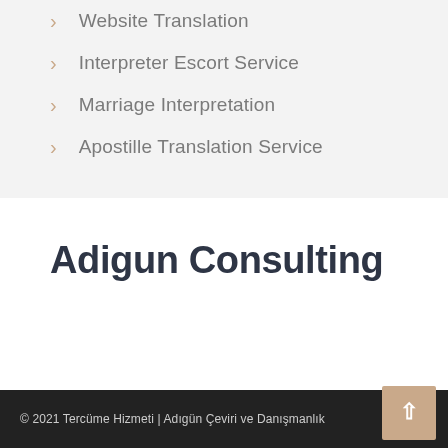Website Translation
Interpreter Escort Service
Marriage Interpretation
Apostille Translation Service
Adigun Consulting
© 2021 Tercüme Hizmeti | Adıgün Çeviri ve Danışmanlık